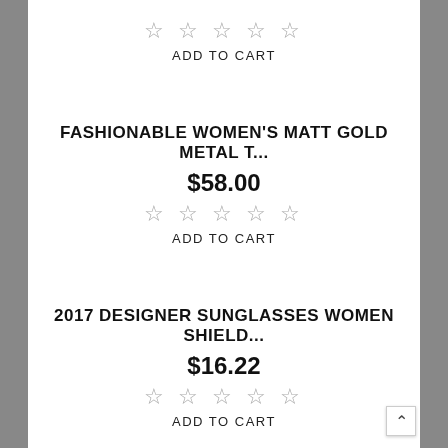☆ ☆ ☆ ☆ ☆
ADD TO CART
FASHIONABLE WOMEN'S MATT GOLD METAL T...
$58.00
☆ ☆ ☆ ☆ ☆
ADD TO CART
2017 DESIGNER SUNGLASSES WOMEN SHIELD...
$16.22
☆ ☆ ☆ ☆ ☆
ADD TO CART